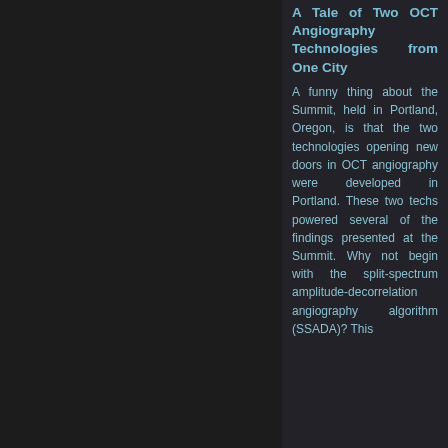A Tale of Two OCT Angiography Technologies from One City
A funny thing about the Summit, held in Portland, Oregon, is that the two technologies opening new doors in OCT angiography were developed in Portland. These two techs powered several of the findings presented at the Summit. Why not begin with the split-spectrum amplitude-decorrelation angiography algorithm (SSADA)? This